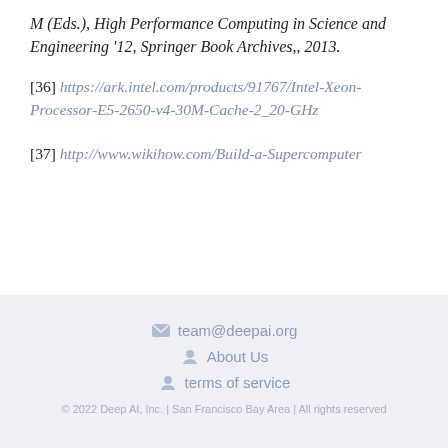M (Eds.), High Performance Computing in Science and Engineering '12, Springer Book Archives,, 2013.
[36] https://ark.intel.com/products/91767/Intel-Xeon-Processor-E5-2650-v4-30M-Cache-2_20-GHz
[37] http://www.wikihow.com/Build-a-Supercomputer
team@deepai.org | About Us | terms of service | © 2022 Deep AI, Inc. | San Francisco Bay Area | All rights reserved